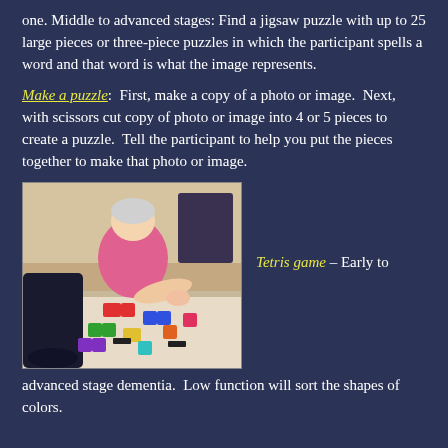one. Middle to advanced stages: Find a jigsaw puzzle with up to 25 large pieces or three-piece puzzles in which the participant spells a word and that word is what the image represents.
Make a puzzle:  First, make a copy of a photo or image.  Next, with scissors cut copy of photo or image into 4 or 5 pieces to create a puzzle.  Tell the participant to help you put the pieces together to make that photo or image.
[Figure (photo): An elderly person in a pink shirt sitting at a table working with colorful Tetris-shaped puzzle pieces spread out on a white surface, indoors.]
Tetris game – Early to advanced stage dementia.  Low function will sort the shapes of colors.